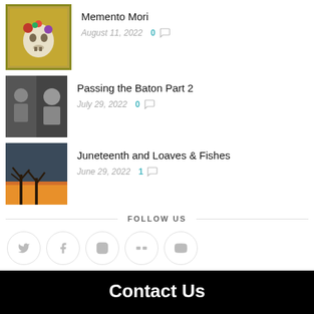[Figure (photo): Thumbnail image of Memento Mori post - skull with flowers in yellow frame]
Memento Mori
August 11, 2022  0
[Figure (photo): Thumbnail image of Passing the Baton Part 2 post - two people]
Passing the Baton Part 2
July 29, 2022  0
[Figure (photo): Thumbnail image of Juneteenth and Loaves & Fishes post - trees at sunset]
Juneteenth and Loaves & Fishes
June 29, 2022  1
FOLLOW US
[Figure (infographic): Social media icons: Twitter, Facebook, Instagram, Flickr, YouTube in grey circles]
Contact Us
Name *